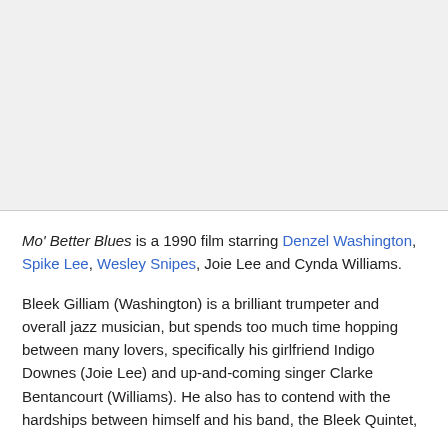[Figure (photo): Large image placeholder area at top of page, light gray background]
Mo' Better Blues is a 1990 film starring Denzel Washington, Spike Lee, Wesley Snipes, Joie Lee and Cynda Williams.
Bleek Gilliam (Washington) is a brilliant trumpeter and overall jazz musician, but spends too much time hopping between many lovers, specifically his girlfriend Indigo Downes (Joie Lee) and up-and-coming singer Clarke Bentancourt (Williams). He also has to contend with the hardships between himself and his band, the Bleek Quintet,